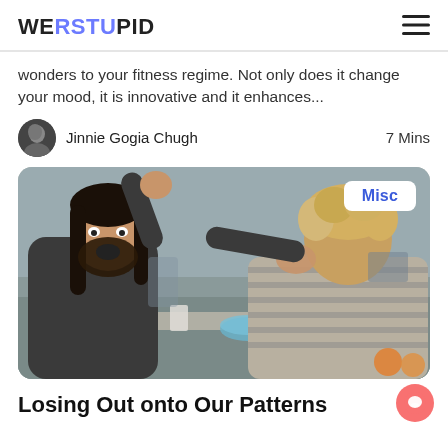WERSTUPID
wonders to your fitness regime. Not only does it change your mood, it is innovative and it enhances...
Jinnie Gogia Chugh   7 Mins
[Figure (photo): A bearded man with long hair appears to be shouting aggressively at a woman with curly blonde hair who is covering her face, in a kitchen setting. A 'Misc' badge is overlaid in the top-right corner of the image.]
Losing Out onto Our Patterns